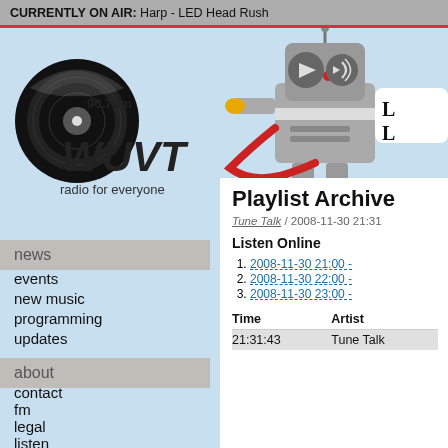CURRENTLY ON AIR: Harp - LED Head Rush
[Figure (logo): WUVT 90.7 fm radio for everyone logo with vinyl record graphic]
[Figure (illustration): Robot illustration holding a phone with radio controls]
news
events
new music
programming
updates
about
contact
fm
legal
listen
staff
station
wishlist
wuvt needs boards
Playlist Archive
Tune Talk / 2008-11-30 21:31
Listen Online
1. 2008-11-30 21:00 -
2. 2008-11-30 22:00 -
3. 2008-11-30 23:00 -
| Time | Artist |
| --- | --- |
| 21:31:43 | Tune Talk |